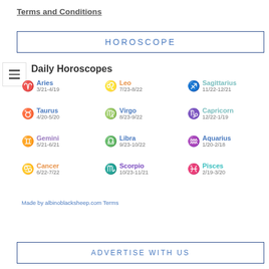Terms and Conditions
HOROSCOPE
Daily Horoscopes
Aries 3/21-4/19
Leo 7/23-8/22
Sagittarius 11/22-12/21
Taurus 4/20-5/20
Virgo 8/23-9/22
Capricorn 12/22-1/19
Gemini 5/21-6/21
Libra 9/23-10/22
Aquarius 1/20-2/18
Cancer 6/22-7/22
Scorpio 10/23-11/21
Pisces 2/19-3/20
Made by albinoblacksheep.com Terms
ADVERTISE WITH US